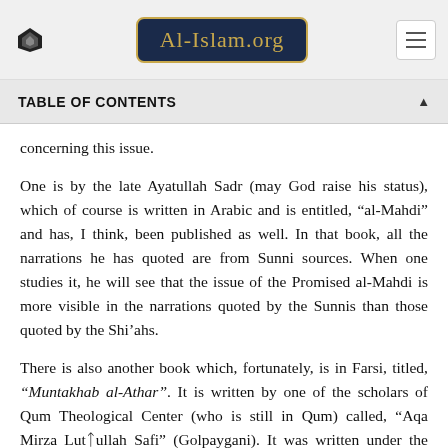Al-Islam.org
TABLE OF CONTENTS
concerning this issue.
One is by the late Ayatullah Sadr (may God raise his status), which of course is written in Arabic and is entitled, “al-Mahdi” and has, I think, been published as well. In that book, all the narrations he has quoted are from Sunni sources. When one studies it, he will see that the issue of the Promised al-Mahdi is more visible in the narrations quoted by the Sunnis than those quoted by the Shi’ahs.
There is also another book which, fortunately, is in Farsi, titled, “Muntakhab al-Athar”. It is written by one of the scholars of Qum Theological Center (who is still in Qum) called, “Aqa Mirza LutĀfullah Safi” (Golpaygani). It was written under the supervision of the late Ayatullah Boipurdi; that is, he gave a general request for this